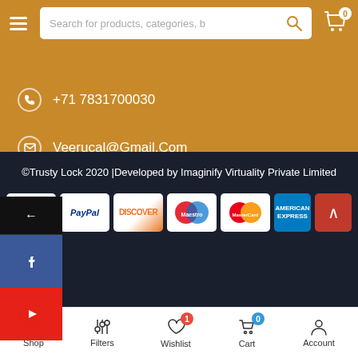[Figure (screenshot): Mobile e-commerce website header with hamburger menu, search bar, and cart icon on golden/amber background]
+71 7831700030
Veerucal@Gmail.Com
www.trustylock.com
Mon - Fri / 9:00 AM - 6:00 PM
[Figure (screenshot): Side social media bar with back arrow, Facebook icon, and YouTube icon]
©Trusty Lock 2020 |Developed by Imaginify Virtuality Private Limited
[Figure (screenshot): Payment method icons: VISA, PayPal, DISCOVER, Maestro, MasterCard, American Express]
Shop  Filters  Wishlist  Cart  Account